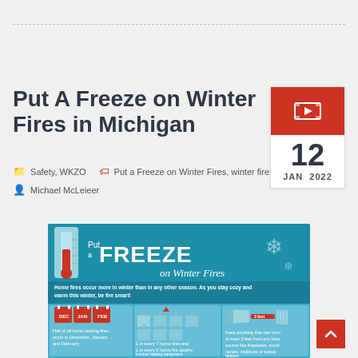Put A Freeze on Winter Fires in Michigan
Safety, WKZO   Put a Freeze on Winter Fires, winter fire safety   Michael McLeieer
[Figure (infographic): Put a Freeze on Winter Fires infographic with teal/blue background. Header reads 'Put a FREEZE on Winter Fires'. Subtitle: 'Home fires occur more in winter than in any other season. As you stay cozy and warm this winter, be fire smart!' Shows three panels: (1) Calendar icons for DEC, JAN, FEB with text 'Half of all home heating fires occur in December, January and February.' (2) House icons with text '1 in every 7 home fires and 1 in every 5 home fire deaths involve heating equipment.' (3) Bed with 3 feet arrow graphic with text 'Keep anything that can burn at least 3 feet from any heat source like fireplaces, wood stoves, radiators or space heaters.']